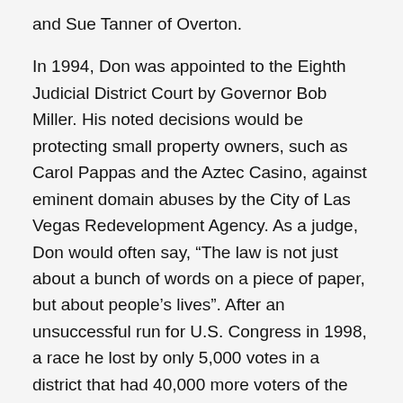and Sue Tanner of Overton.
In 1994, Don was appointed to the Eighth Judicial District Court by Governor Bob Miller. His noted decisions would be protecting small property owners, such as Carol Pappas and the Aztec Casino, against eminent domain abuses by the City of Las Vegas Redevelopment Agency. As a judge, Don would often say, “The law is not just about a bunch of words on a piece of paper, but about people’s lives”. After an unsuccessful run for U.S. Congress in 1998, a race he lost by only 5,000 votes in a district that had 40,000 more voters of the other party, Don returned to private practice winning several cases before the U.S. Ninth Circuit Court of Appeals.
In 2019, Don returned to work as a prosecutor, this time working as a Deputy District Attorney for Nye County District Attorney Chris Arabia. Although Mr. Arabia was a